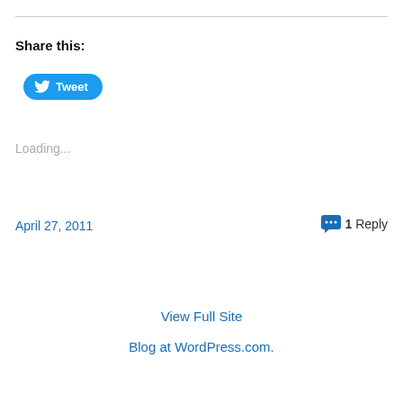Share this:
[Figure (other): Twitter Tweet button with bird logo]
Loading...
April 27, 2011
1 Reply
View Full Site
Blog at WordPress.com.